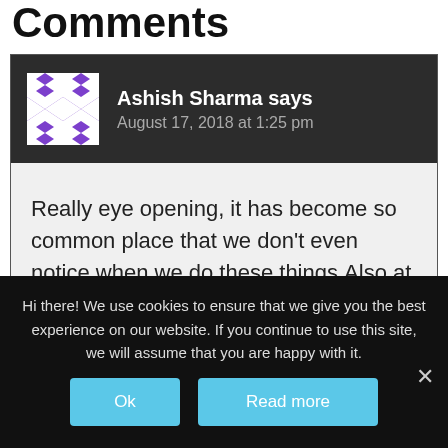Comments
Ashish Sharma says
August 17, 2018 at 1:25 pm
Really eye opening, it has become so common place that we don't even notice when we do these things.Also at times I do wonder are things really that bad!
Hi there! We use cookies to ensure that we give you the best experience on our website. If you continue to use this site, we will assume that you are happy with it.